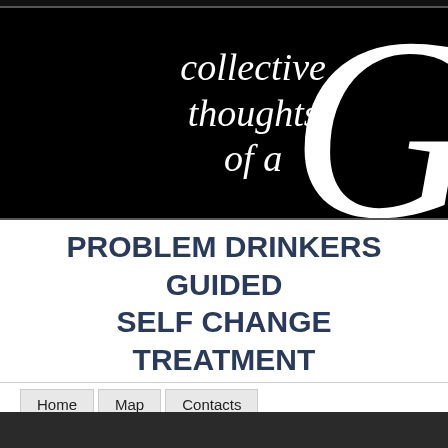[Figure (logo): Black banner with cursive white text reading 'collective thoughts of a' and a large decorative italic G on the right]
PROBLEM DRINKERS GUIDED SELF CHANGE TREATMENT
Home | Map | Contacts
You are here: Home > Gesto > Problem drinkers guided self change tre...